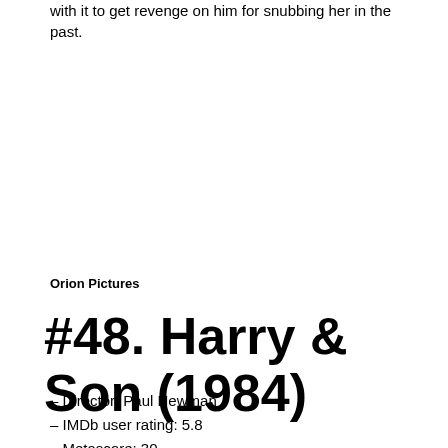with it to get revenge on him for snubbing her in the past.
Orion Pictures
#48. Harry & Son (1984)
– Director: Paul Newman
– IMDb user rating: 5.8
– Metascore: 30